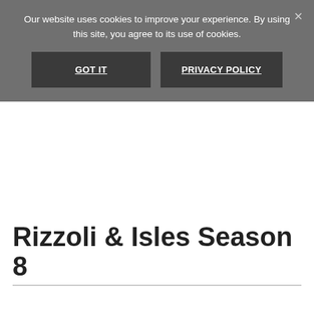Our website uses cookies to improve your experience. By using this site, you agree to its use of cookies.
GOT IT
PRIVACY POLICY
Rizzoli & Isles Season 8